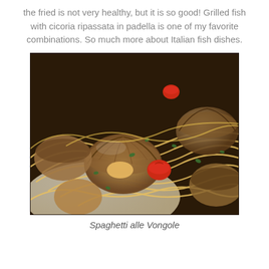the fried is not very healthy, but it is so good! Grilled fish with cicoria ripassata in padella is one of my favorite combinations. So much more about Italian fish dishes.
[Figure (photo): Close-up photo of Spaghetti alle Vongole — spaghetti pasta with clams (vongole) in shells, cherry tomatoes, and herbs on a white plate.]
Spaghetti alle Vongole